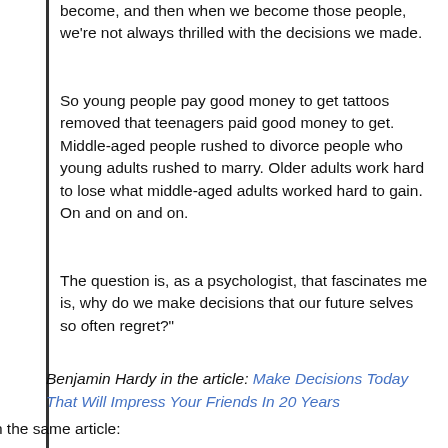become, and then when we become those people, we're not always thrilled with the decisions we made.
So young people pay good money to get tattoos removed that teenagers paid good money to get. Middle-aged people rushed to divorce people who young adults rushed to marry. Older adults work hard to lose what middle-aged adults worked hard to gain. On and on and on.
The question is, as a psychologist, that fascinates me is, why do we make decisions that our future selves so often regret?"
Benjamin Hardy in the article: Make Decisions Today That Will Impress Your Friends In 20 Years
Also in the same article: